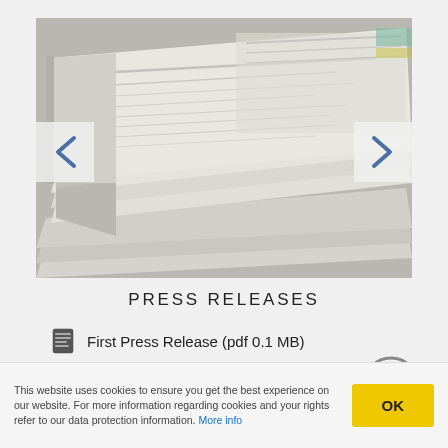[Figure (photo): Stack of folded newspapers photographed close-up, black and white tones, with left and right navigation arrows overlaid on sides]
PRESS RELEASES
First Press Release (pdf 0.1 MB)
Second Press Release (pdf 0.1 MB)
This website uses cookies to ensure you get the best experience on our website. For more information regarding cookies and your rights refer to our data protection information. More info